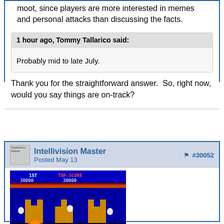moot, since players are more interested in memes and personal attacks than discussing the facts.
1 hour ago, Tommy Tallarico said:
Probably mid to late July.
Thank you for the straightforward answer.  So, right now, would you say things are on-track?
Intellivision Master
Posted May 13
#30052
[Figure (screenshot): Retro video game screenshot showing 1ST 30000 TOP-SCORE 30000 on a black background with yellow brick structures and game characters]